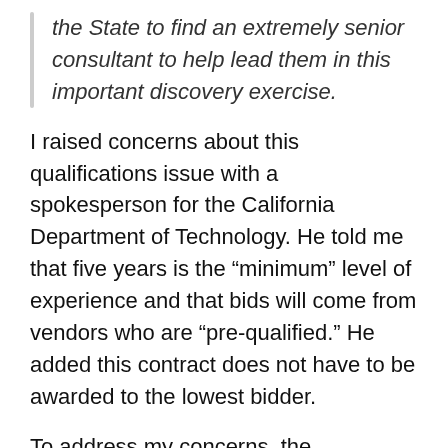the State to find an extremely senior consultant to help lead them in this important discovery exercise.
I raised concerns about this qualifications issue with a spokesperson for the California Department of Technology. He told me that five years is the “minimum” level of experience and that bids will come from vendors who are “pre-qualified.” He added this contract does not have to be awarded to the lowest bidder.
To address my concerns, the spokesperson said, “The people who drafted the RFO document are very experienced in project management.” When I asked whether these folks are the same ones who managed the original failed project, he stumbled a bit and then said, “no,” because there were personnel changes. However, the RFO says there are “seven (7) project team members